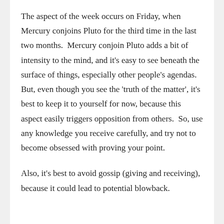The aspect of the week occurs on Friday, when Mercury conjoins Pluto for the third time in the last two months.  Mercury conjoin Pluto adds a bit of intensity to the mind, and it's easy to see beneath the surface of things, especially other people's agendas.  But, even though you see the 'truth of the matter', it's best to keep it to yourself for now, because this aspect easily triggers opposition from others.  So, use any knowledge you receive carefully, and try not to become obsessed with proving your point.
Also, it's best to avoid gossip (giving and receiving), because it could lead to potential blowback.